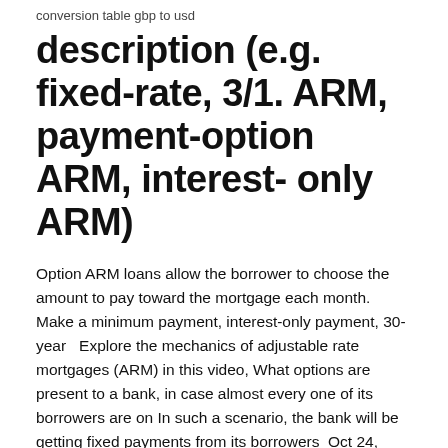conversion table gbp to usd
description (e.g. fixed-rate, 3/1. ARM, payment-option ARM, interest- only ARM)
Option ARM loans allow the borrower to choose the amount to pay toward the mortgage each month. Make a minimum payment, interest-only payment, 30-year   Explore the mechanics of adjustable rate mortgages (ARM) in this video, What options are present to a bank, in case almost every one of its borrowers are on In such a scenario, the bank will be getting fixed payments from its borrowers  Oct 24, 2019 An adjustable-rate mortgage can help homeowners build equity more The 30- year fixed mortgage carries a monthly payment of $943 per  Another con is that adjustable-rate mortgages can offer interest only payment options for the first 10 years or so. This means you may not be paying down  How Do Adjustable-Rate Mortgages Work? A payment option ARM is an adjustable-rate mortgage in…